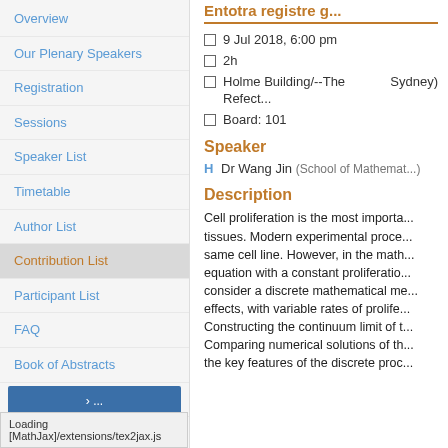Overview
Our Plenary Speakers
Registration
Sessions
Speaker List
Timetable
Author List
Contribution List
Participant List
FAQ
Book of Abstracts
SMB2018 Competition!
Accommodation & Tours
Contact SMB2018
Entotra registre g...
9 Jul 2018, 6:00 pm
2h
Holme Building/--The Refect... Sydney)
Board: 101
Speaker
H Dr Wang Jin (School of Mathemat...)
Description
Cell proliferation is the most importa... tissues. Modern experimental proce... same cell line. However, in the math... equation with a constant proliferatio... consider a discrete mathematical me... effects, with variable rates of prolife... Constructing the continuum limit of t... Comparing numerical solutions of th... the key features of the discrete proc...
Loading [MathJax]/extensions/tex2jax.js